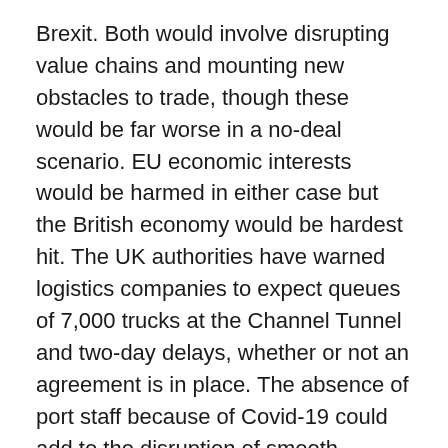Brexit. Both would involve disrupting value chains and mounting new obstacles to trade, though these would be far worse in a no-deal scenario. EU economic interests would be harmed in either case but the British economy would be hardest hit. The UK authorities have warned logistics companies to expect queues of 7,000 trucks at the Channel Tunnel and two-day delays, whether or not an agreement is in place. The absence of port staff because of Covid-19 could add to the disruption of smooth-flowing supply chains. A senior British minister has said that France will be responsible if the strict enforcement of Schengen rules from January 1 causes additional delays.
Despite the British government's bluster and apparent willingness to break the existing